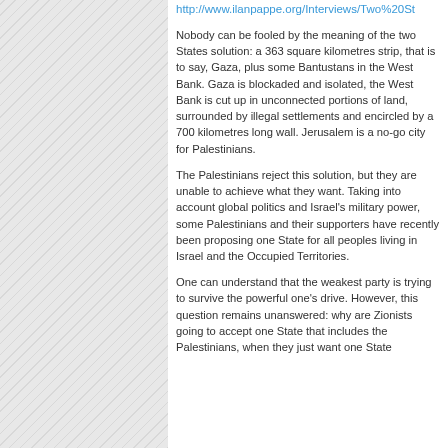http://www.ilanpappe.org/Interviews/Two%20St
Nobody can be fooled by the meaning of the two States solution: a 363 square kilometres strip, that is to say, Gaza, plus some Bantustans in the West Bank. Gaza is blockaded and isolated, the West Bank is cut up in unconnected portions of land, surrounded by illegal settlements and encircled by a 700 kilometres long wall. Jerusalem is a no-go city for Palestinians.
The Palestinians reject this solution, but they are unable to achieve what they want. Taking into account global politics and Israel's military power, some Palestinians and their supporters have recently been proposing one State for all peoples living in Israel and the Occupied Territories.
One can understand that the weakest party is trying to survive the powerful one's drive. However, this question remains unanswered: why are Zionists going to accept one State that includes the Palestinians, when they just want one State